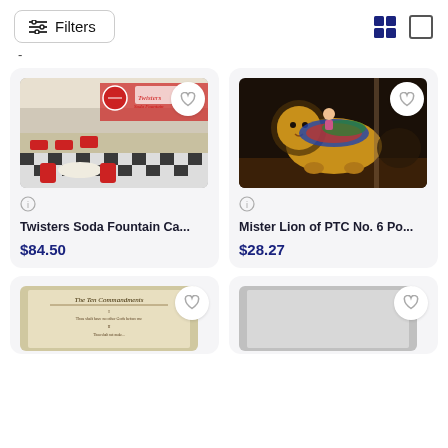Filters (button with filter icon, grid view icons)
[Figure (photo): Interior of Twisters Soda Fountain Cafe, a retro 1950s style diner with red chairs, checkered floor, and Coca-Cola signage]
Twisters Soda Fountain Ca...
$84.50
[Figure (photo): Mister Lion carousel figure from PTC No. 6, an ornate painted lion carousel animal]
Mister Lion of PTC No. 6 Po...
$28.27
[Figure (photo): The Ten Commandments decorative print, partially visible at bottom of page]
[Figure (photo): Partially visible product card at bottom right]